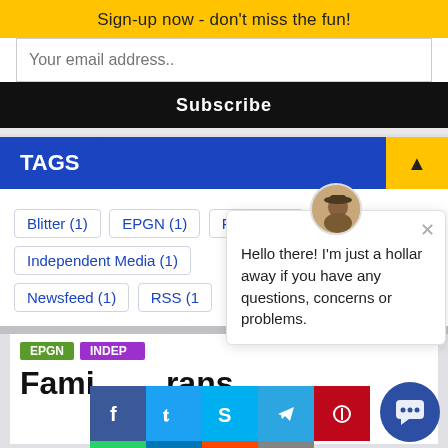Sign-up now - don't miss the fun!
Your email address..
Subscribe
TAGS
Blitter (1)
EPGN (1)
Ff9900 (1)
Independent Media (1)
Newsfeed (1)
RSS (1)
Hello there! I'm just a hollar away if you have any questions, concerns or problems.
EPGN  INDEP
Fami  rans